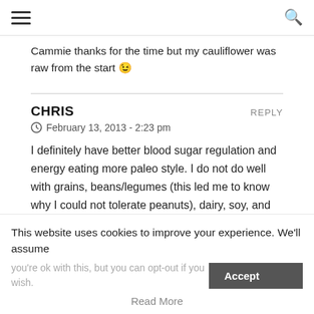Cammie thanks for the time but my cauliflower was raw from the start 😉
CHRIS
February 13, 2013 - 2:23 pm
I definitely have better blood sugar regulation and energy eating more paleo style. I do not do well with grains, beans/legumes (this led me to know why I could not tolerate peanuts), dairy, soy, and fructose. Just a few…LOL. It is a learning journey and sometimes I just cannot understand why some days are better than others.
This website uses cookies to improve your experience. We'll assume you're ok with this, but you can opt-out if you wish.
Read More